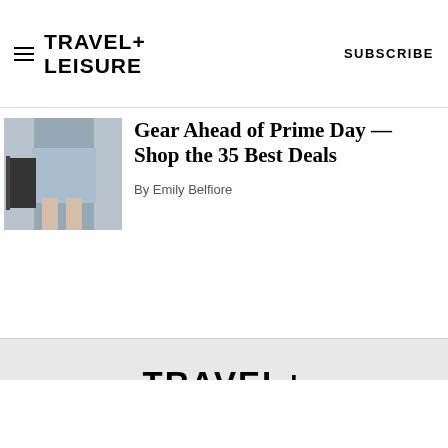TRAVEL+ LEISURE  SUBSCRIBE
[Figure (photo): Partial image of a person in a blue dress with luggage or bag, cropped article thumbnail]
Gear Ahead of Prime Day — Shop the 35 Best Deals
By Emily Belfiore
[Figure (logo): TRAVEL+ LEISURE logo in large black bold text on light grey background]
NEWSLETTER
Ad